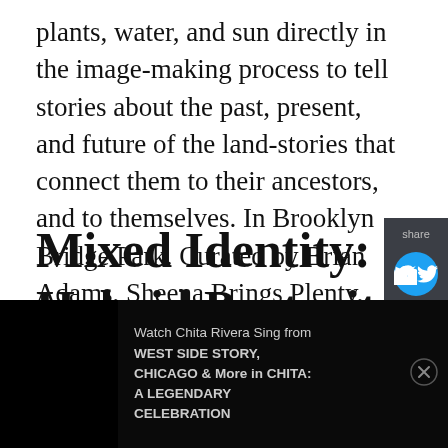plants, water, and sun directly in the image-making process to tell stories about the past, present, and future of the land-stories that connect them to their ancestors, and to themselves. In Brooklyn Bridge Park. Curated by Brian Adams, Sheena Brings Plenty, and Sarah Stacke. Presented by The 400 Years Project and Photoville.
Mixed Identity: Hybrid Portraits
Work by the students of Riverdale Avenue Middle School and supported by Photoville x PhotoWings
[Figure (other): Share sidebar with Twitter and Facebook icons on dark gray background]
[Figure (other): Black advertisement banner: Watch Chita Rivera Sing from WEST SIDE STORY, CHICAGO & More in CHITA: A LEGENDARY CELEBRATION]